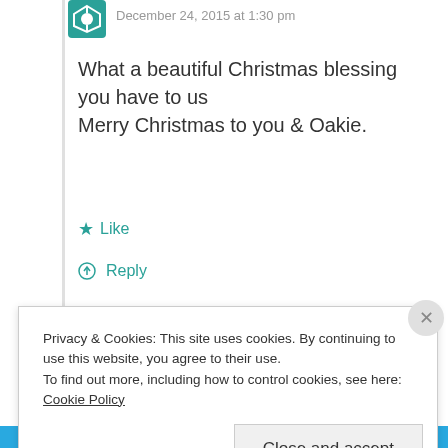December 24, 2015 at 1:30 pm
What a beautiful Christmas blessing you have to us
Merry Christmas to you & Oakie.
★ Like
⏻ Reply
[Figure (infographic): P2 advertisement banner: black square logo with 'P2' text, followed by bold text 'Getting your team on the same page is easy. And free.']
REPORT THIS AD
Privacy & Cookies: This site uses cookies. By continuing to use this website, you agree to their use.
To find out more, including how to control cookies, see here: Cookie Policy
Close and accept